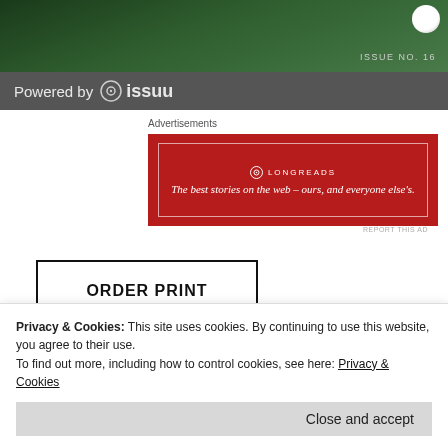[Figure (photo): Dark green grassy/natural background image with a white golf ball visible in upper right corner and text 'ISSUE NO. 16' in the upper right area]
Powered by issuu
Advertisements
[Figure (other): Longreads advertisement: Red background with white border, Longreads logo and tagline 'The best stories on the web – ours, and everyone else's.']
REPORT THIS AD
ORDER PRINT
Advertisements
[Figure (other): Sensei advertisement: Dark navy background with circular sensei logo and 'sensei' text in white]
Privacy & Cookies: This site uses cookies. By continuing to use this website, you agree to their use.
To find out more, including how to control cookies, see here: Privacy & Cookies
Close and accept